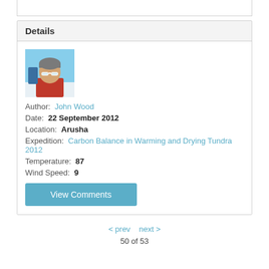Details
[Figure (photo): Portrait photo of John Wood wearing sunglasses and a grey beanie, outdoors in snowy/bright conditions with a red jacket]
Author: John Wood
Date: 22 September 2012
Location: Arusha
Expedition: Carbon Balance in Warming and Drying Tundra 2012
Temperature: 87
Wind Speed: 9
View Comments
< prev   next >   50 of 53